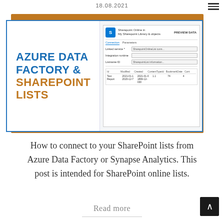18.08.2021
[Figure (screenshot): Blog post hero image showing Azure Data Factory & SharePoint Lists title card with a screenshot of ADF/Synapse connector interface on the right side.]
How to connect to your SharePoint lists from Azure Data Factory or Synapse Analytics. This post is intended for SharePoint online lists.
Read more